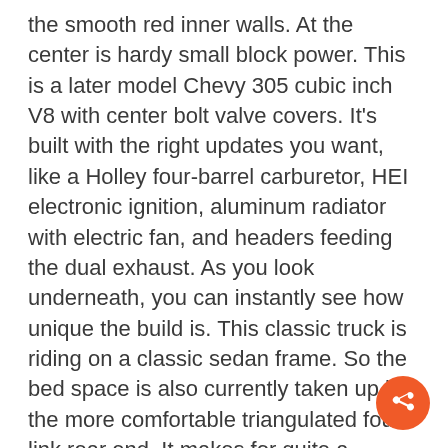the smooth red inner walls. At the center is hardy small block power. This is a later model Chevy 305 cubic inch V8 with center bolt valve covers. It's built with the right updates you want, like a Holley four-barrel carburetor, HEI electronic ignition, aluminum radiator with electric fan, and headers feeding the dual exhaust. As you look underneath, you can instantly see how unique the build is. This classic truck is riding on a classic sedan frame. So the bed space is also currently taken up by the more comfortable triangulated four-link rear end. It makes for quite a unique setup that really makes this a driver. There is some updating that you will likely want to do to have a proper comfortable cruiser, and it might be fun to craft a custom wood bed over the frame. But what it represents from day one is a true custom style with plenty of potential to be an even better cruiser. Plus, you have a three-speed automatic transmission, power steering, power brakes, front disc and rear drum, air conditioning and